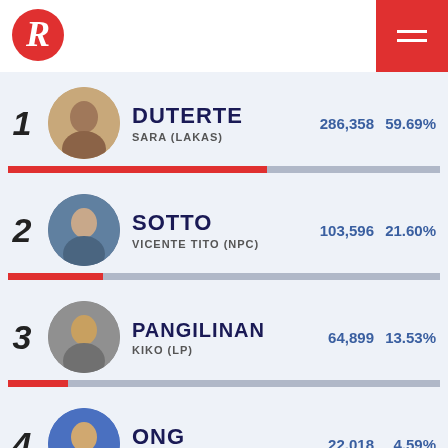Rappler
1 DUTERTE SARA (LAKAS) 286,358 59.69%
2 SOTTO VICENTE TITO (NPC) 103,596 21.60%
3 PANGILINAN KIKO (LP) 64,899 13.53%
4 ONG DOC WILLIE (AKSYON) 22,018 4.59%